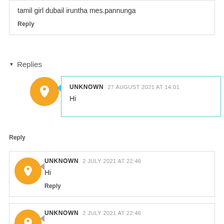tamil girl dubail iruntha mes.pannunga
Reply
Replies
UNKNOWN 27 AUGUST 2021 AT 14:01
Hi
Reply
UNKNOWN 2 JULY 2021 AT 22:46
Hi
Reply
UNKNOWN 2 JULY 2021 AT 22:46